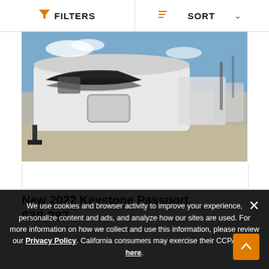FILTERS   SORT
[Figure (photo): Photo of a row of white Keystone Passport travel trailers/RVs parked outside on gravel under a blue sky]
New 2022 Keystone Passport
$38,287
We use cookies and browser activity to improve your experience, personalize content and ads, and analyze how our sites are used. For more information on how we collect and use this information, please review our Privacy Policy. California consumers may exercise their CCPA rights here.